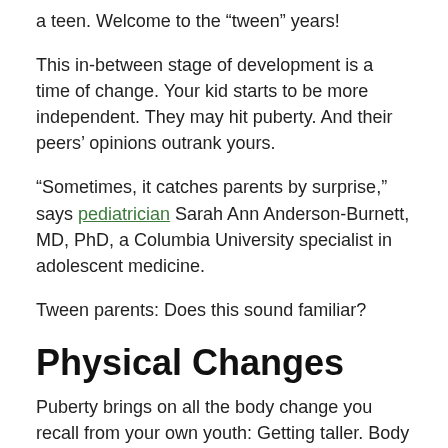a teen. Welcome to the “tween” years!
This in-between stage of development is a time of change. Your kid starts to be more independent. They may hit puberty. And their peers’ opinions outrank yours.
“Sometimes, it catches parents by surprise,” says pediatrician Sarah Ann Anderson-Burnett, MD, PhD, a Columbia University specialist in adolescent medicine.
Tween parents: Does this sound familiar?
Physical Changes
Puberty brings on all the body change you recall from your own youth: Getting taller. Body odor. Hair where there wasn’t hair before. Acne. Girls may